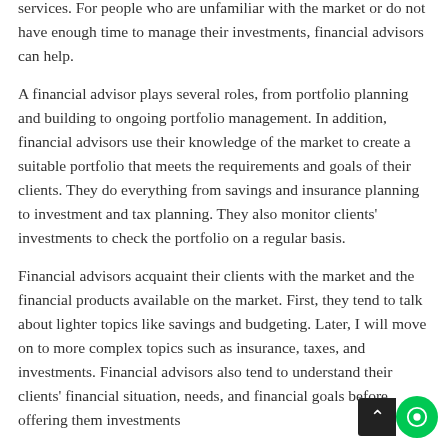services. For people who are unfamiliar with the market or do not have enough time to manage their investments, financial advisors can help.
A financial advisor plays several roles, from portfolio planning and building to ongoing portfolio management. In addition, financial advisors use their knowledge of the market to create a suitable portfolio that meets the requirements and goals of their clients. They do everything from savings and insurance planning to investment and tax planning. They also monitor clients' investments to check the portfolio on a regular basis.
Financial advisors acquaint their clients with the market and the financial products available on the market. First, they tend to talk about lighter topics like savings and budgeting. Later, I will move on to more complex topics such as insurance, taxes, and investments. Financial advisors also tend to understand their clients' financial situation, needs, and financial goals before offering them investments